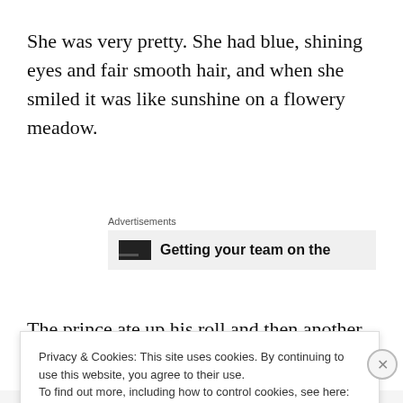She was very pretty. She had blue, shining eyes and fair smooth hair, and when she smiled it was like sunshine on a flowery meadow.
[Figure (screenshot): Advertisement box with logo icon on left and bold text 'Getting your team on the' on gray background, preceded by 'Advertisements' label]
The prince ate up his roll and then another and yet
Privacy & Cookies: This site uses cookies. By continuing to use this website, you agree to their use.
To find out more, including how to control cookies, see here: Cookie Policy
Close and accept